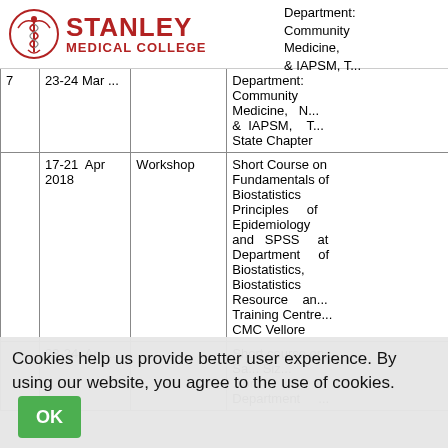[Figure (logo): Stanley Medical College logo with caduceus emblem and red bold text 'STANLEY MEDICAL COLLEGE']
| S.No | Date | Type | Details |
| --- | --- | --- | --- |
| 7 | 23-24 Mar ... |  | Department: Community Medicine, & IAPSM, Tamil Nadu State Chapter |
|  | 17-21 Apr 2018 | Workshop | Short Course on Fundamentals of Biostatistics Principles of Epidemiology and SPSS at Department of Biostatistics, Biostatistics Resource and Training Centre CMC Vellore |
|  | 23-24 Apr ... |  | Short course on Sample Size... Department ... |
Cookies help us provide better user experience. By using our website, you agree to the use of cookies.